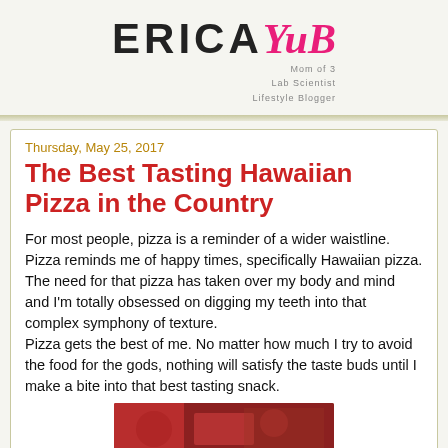[Figure (logo): ERICAYuB blog logo with tagline: Mom of 3, Lab Scientist, Lifestyle Blogger]
Thursday, May 25, 2017
The Best Tasting Hawaiian Pizza in the Country
For most people, pizza is a reminder of a wider waistline. Pizza reminds me of happy times, specifically Hawaiian pizza. The need for that pizza has taken over my body and mind and I'm totally obsessed on digging my teeth into that complex symphony of texture.
Pizza gets the best of me. No matter how much I try to avoid the food for the gods, nothing will satisfy the taste buds until I make a bite into that best tasting snack.
[Figure (photo): Partial photo of pizza or food item at the bottom of the page]